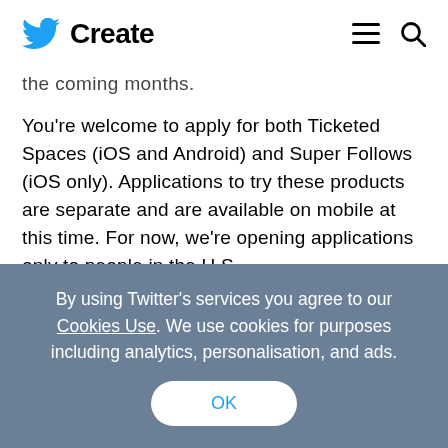Create
the coming months.
You're welcome to apply for both Ticketed Spaces (iOS and Android) and Super Follows (iOS only). Applications to try these products are separate and are available on mobile at this time. For now, we're opening applications only to people in the U.S.
By using Twitter's services you agree to our Cookies Use. We use cookies for purposes including analytics, personalisation, and ads.
OK